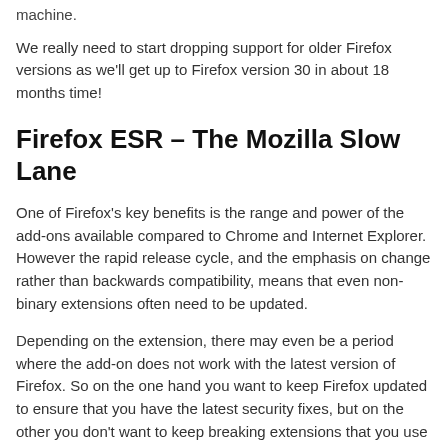machine.
We really need to start dropping support for older Firefox versions as we'll get up to Firefox version 30 in about 18 months time!
Firefox ESR – The Mozilla Slow Lane
One of Firefox's key benefits is the range and power of the add-ons available compared to Chrome and Internet Explorer. However the rapid release cycle, and the emphasis on change rather than backwards compatibility, means that even non-binary extensions often need to be updated.
Depending on the extension, there may even be a period where the add-on does not work with the latest version of Firefox. So on the one hand you want to keep Firefox updated to ensure that you have the latest security fixes, but on the other you don't want to keep breaking extensions that you use on a regular basis.